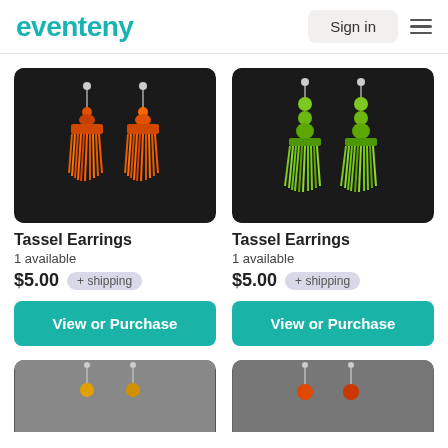eventeny   Sign in   ☰
[Figure (photo): Orange and red tassel earrings hanging on a dark display]
Tassel Earrings
1 available
$5.00 + shipping
[Figure (photo): Lime green tassel earrings hanging on a dark display]
Tassel Earrings
1 available
$5.00 + shipping
View or Purchase
View or Purchase
[Figure (photo): Partial view of earrings on a grey background (bottom of page, cropped)]
[Figure (photo): Partial view of orange bead earrings on a grey background (bottom of page, cropped)]